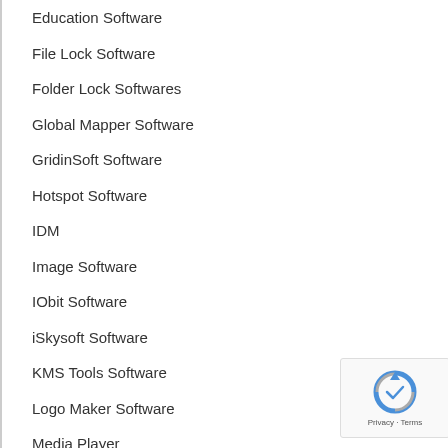Education Software
File Lock Software
Folder Lock Softwares
Global Mapper Software
GridinSoft Software
Hotspot Software
IDM
Image Software
IObit Software
iSkysoft Software
KMS Tools Software
Logo Maker Software
Media Player
Mirillis Action Software
Movie Maker Software
Multimedia Software
Nero Software
NetDrive Software